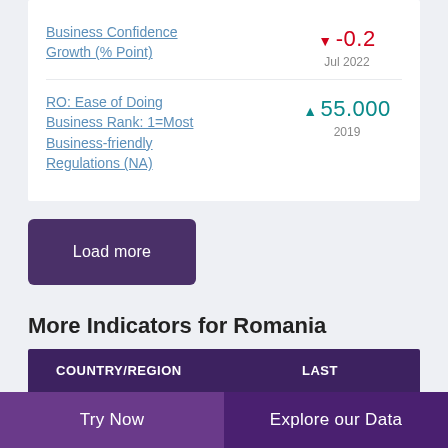Business Confidence Growth (% Point) ▼ -0.2 Jul 2022
RO: Ease of Doing Business Rank: 1=Most Business-friendly Regulations (NA) ▲ 55.000 2019
Load more
More Indicators for Romania
| COUNTRY/REGION | LAST |
| --- | --- |
Try Now   Explore our Data